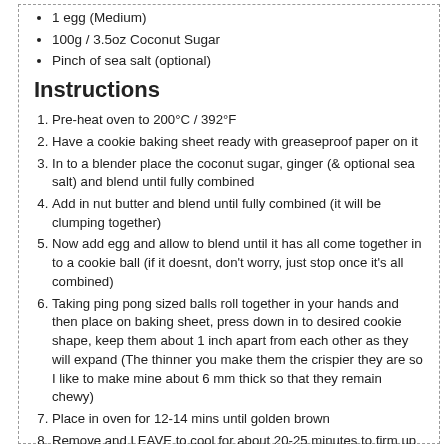1 egg (Medium)
100g / 3.5oz Coconut Sugar
Pinch of sea salt (optional)
Instructions
Pre-heat oven to 200°C / 392°F
Have a cookie baking sheet ready with greaseproof paper on it
In to a blender place the coconut sugar, ginger (& optional sea salt) and blend until fully combined
Add in nut butter and blend until fully combined (it will be clumping together)
Now add egg and allow to blend until it has all come together in to a cookie ball (if it doesnt, don't worry, just stop once it's all combined)
Taking ping pong sized balls roll together in your hands and then place on baking sheet, press down in to desired cookie shape, keep them about 1 inch apart from each other as they will expand (The thinner you make them the crispier they are so I like to make mine about 6 mm thick so that they remain chewy)
Place in oven for 12-14 mins until golden brown
Remove and LEAVE to cool for about 20-25 minutes to firm up or until you can pick one up easily (you mustn't try to move them off the sheet when they first come out as they need to solidify)
Keep in an air tight container for up to one week
Notes
Feel free to substitute the ginger powder for anything else....cacao, cinnamon, vanilla, nutmeg, pumpkin spice, apple spice etc. You could even add something in to it like raisins, cranberries, orange zest etc- just be careful to have the baking tray in the middle of the oven if you do this